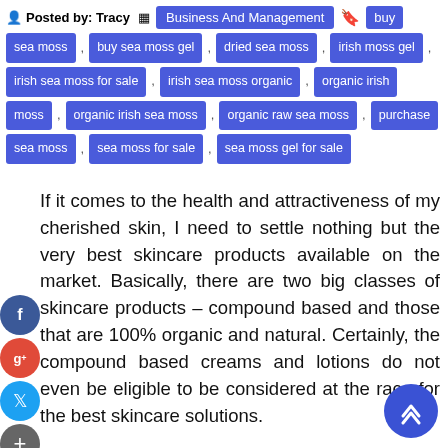Posted by: Tracy   Business And Management
buy sea moss , buy sea moss gel , dried sea moss , irish moss gel , irish sea moss for sale , irish sea moss organic , organic irish moss , organic irish sea moss , organic raw sea moss , purchase sea moss , sea moss for sale , sea moss gel for sale
If it comes to the health and attractiveness of my cherished skin, I need to settle nothing but the very best skincare products available on the market. Basically, there are two big classes of skincare products – compound based and those that are 100% organic and natural. Certainly, the compound based creams and lotions do not even be eligible to be considered at the race for the best skincare solutions.